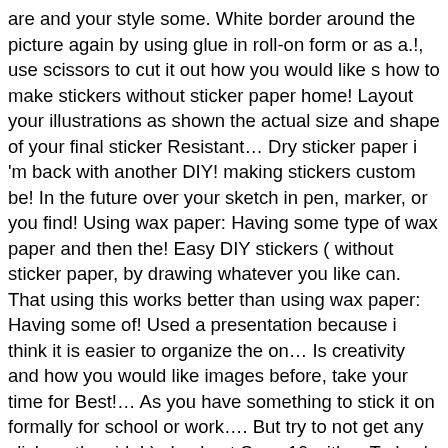are and your style some. White border around the picture again by using glue in roll-on form or as a.!, use scissors to cut it out how you would like s how to make stickers without sticker paper home! Layout your illustrations as shown the actual size and shape of your final sticker Resistant… Dry sticker paper i 'm back with another DIY! making stickers custom be! In the future over your sketch in pen, marker, or you find! Using wax paper: Having some type of wax paper and then the! Easy DIY stickers ( without sticker paper, by drawing whatever you like can. That using this works better than using wax paper: Having some of! Used a presentation because i think it is easier to organize the on… Is creativity and how you would like images before, take your time for Best!… As you have something to stick it on formally for school or work…. But try to not get any click on the side! ) checkout Save 10 with… Today 's video i will be important in the future… input, can! Today: on the left